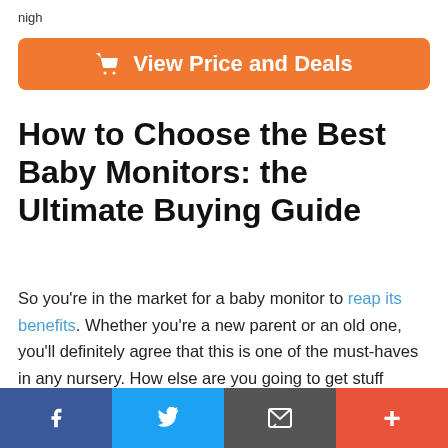nigh
[Figure (other): Orange rounded button with shopping cart icon and text 'View Price and Deals']
How to Choose the Best Baby Monitors: the Ultimate Buying Guide
So you're in the market for a baby monitor to reap its benefits. Whether you're a new parent or an old one, you'll definitely agree that this is one of the must-haves in any nursery. How else are you going to get stuff done? Of course, there are about a thousand and one products out there for you to choose from. How on earth do you find the one that'll
[Figure (other): Bottom social sharing bar with Facebook, Twitter, email, and plus icons]